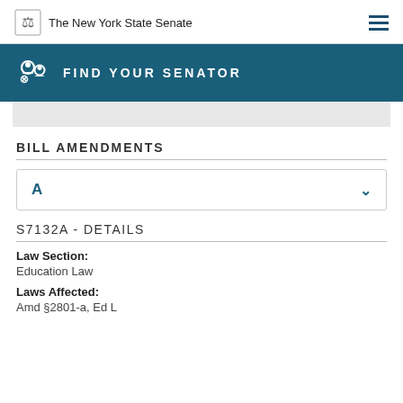The New York State Senate
FIND YOUR SENATOR
BILL AMENDMENTS
A
S7132A - DETAILS
Law Section:
Education Law
Laws Affected:
Amd §2801-a, Ed L